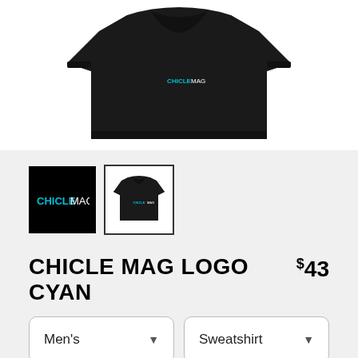[Figure (photo): Black crewneck sweatshirt with cyan CHICLE MAG logo on chest, shown on white background]
[Figure (logo): Thumbnail: black background with cyan CHICLE MAG text logo]
[Figure (photo): Thumbnail: black sweatshirt with cyan logo, selected state with border]
CHICLE MAG LOGO CYAN
$43
Men's
Sweatshirt
SELECT YOUR FIT
$43
French Terry
$50
Sponge Fleece